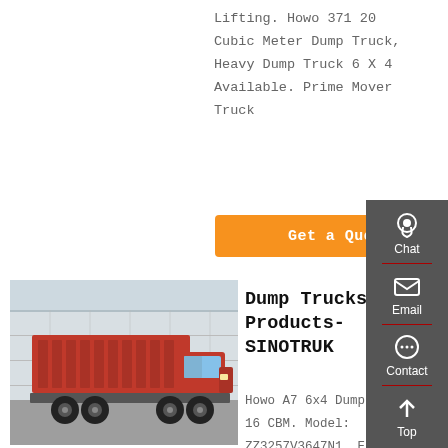Lifting. Howo 371 20 Cubic Meter Dump Truck, Heavy Dump Truck 6 X 4 Available. Prime Mover Truck
Get a Quote
[Figure (photo): Red SINOTRUK HOWO dump truck with raised red cargo bed, parked on pavement with a warehouse building in the background]
Dump Trucks-Products-SINOTRUK
Howo A7 6x4 Dump Truck 16 CBM. Model: ZZ3257V3647N1. Engine Power: 420HP. Body Size: